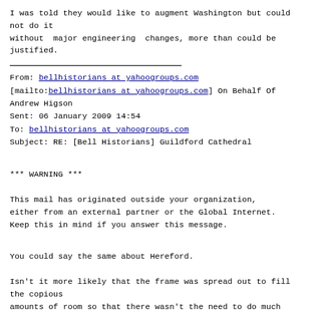I was told they would like to augment Washington but could not do it
without  major engineering  changes, more than could be justified.
From: bellhistorians at yahoogroups.com
[mailto:bellhistorians at yahoogroups.com] On Behalf Of Andrew Higson
Sent: 06 January 2009 14:54
To: bellhistorians at yahoogroups.com
Subject: RE: [Bell Historians] Guildford Cathedral
*** WARNING ***

This mail has originated outside your organization,
either from an external partner or the Global Internet.
Keep this in mind if you answer this message.
You could say the same about Hereford.
Isn't it more likely that the frame was spread out to fill the copious
amounts of room so that there wasn't the need to do much drawing of the